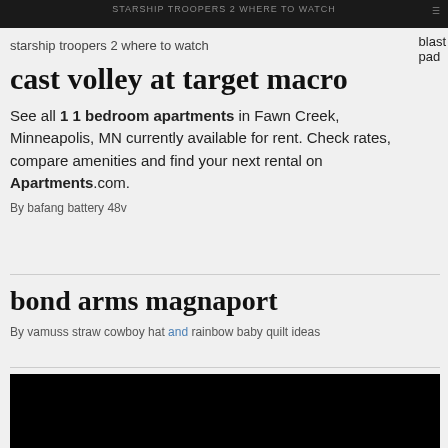starship troopers 2 where to watch
cast volley at target macro
See all 1 1 bedroom apartments in Fawn Creek, Minneapolis, MN currently available for rent. Check rates, compare amenities and find your next rental on Apartments.com.
By bafang battery 48v
bond arms magnaport
By vamuss straw cowboy hat and rainbow baby quilt ideas
[Figure (photo): Black rectangle image placeholder]